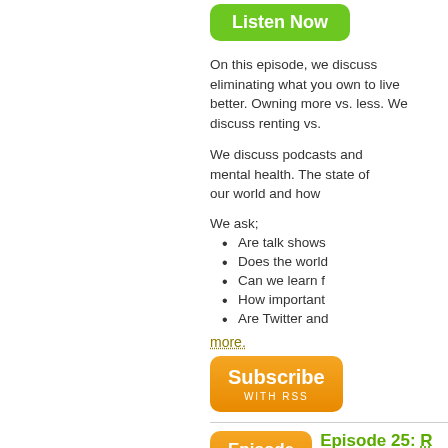[Figure (other): Green 'Listen Now' button]
On this episode, we discuss eliminating what you own to live better. Owning more vs. less. We discuss renting vs.
We discuss podcasts and mental health. The state of our world and how
We ask;
Are talk shows
Does the world
Can we learn f
How important
Are Twitter and
more.
[Figure (other): Orange 'Subscribe with RSS' button]
[Figure (other): Orange 'Episode Detail' button]
Episode 25: R
John Flowers, John... fourth and fifth rules.
[Figure (other): Green 'Listen Now' button]
#3: After 6 months